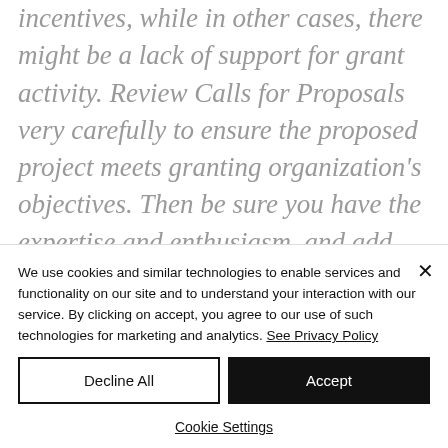incentives, while in other cases, there might be a lack of support for grant activity. Review Calls for Proposals very carefully to ensure the proposed project meets granting organization's objectives. Then be sure you have the expertise and enthusiasm, and add co-investigators who are proactive,
We use cookies and similar technologies to enable services and functionality on our site and to understand your interaction with our service. By clicking on accept, you agree to our use of such technologies for marketing and analytics. See Privacy Policy
Decline All
Accept
Cookie Settings